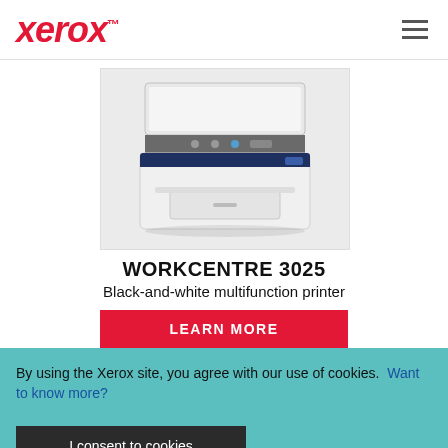Xerox™
[Figure (photo): Xerox WorkCentre 3025 black-and-white multifunction printer, white and dark blue body, viewed from a slight angle showing the scanner lid open]
WORKCENTRE 3025
Black-and-white multifunction printer
LEARN MORE
By using the Xerox site, you agree with our use of cookies.  Want to know more?
I consent to cookies
[Figure (photo): Partial view of another Xerox printer at the bottom of the page]